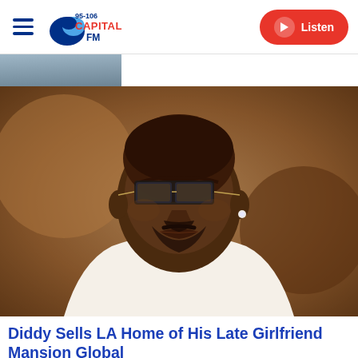Capital FM 95-106 | Listen
[Figure (photo): Partial image visible at top, cropped person in grey/blue tones]
[Figure (photo): Man wearing sunglasses, white tuxedo jacket and black bow tie, with a diamond earring, against a blurred warm background. Close-up portrait photograph.]
Diddy Sells LA Home of His Late Girlfriend Mansion Global